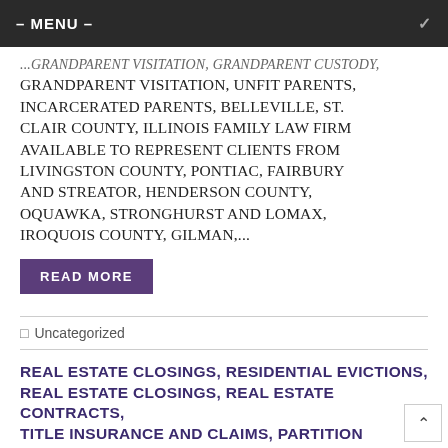– MENU –
GRANDPARENT VISITATION, UNFIT PARENTS, INCARCERATED PARENTS, BELLEVILLE, ST. CLAIR COUNTY, ILLINOIS FAMILY LAW FIRM AVAILABLE TO REPRESENT CLIENTS FROM LIVINGSTON COUNTY, PONTIAC, FAIRBURY AND STREATOR, HENDERSON COUNTY, OQUAWKA, STRONGHURST AND LOMAX, IROQUOIS COUNTY, GILMAN,...
READ MORE
Uncategorized
REAL ESTATE CLOSINGS, RESIDENTIAL EVICTIONS, REAL ESTATE CLOSINGS, REAL ESTATE CONTRACTS, TITLE INSURANCE AND CLAIMS, PARTITION ACTIONS, DEED PREPARATION, QUIET TITLE ACTIONS, BELLEVILLE, ST. CLAIR COUNTY, ILLINOIS REAL